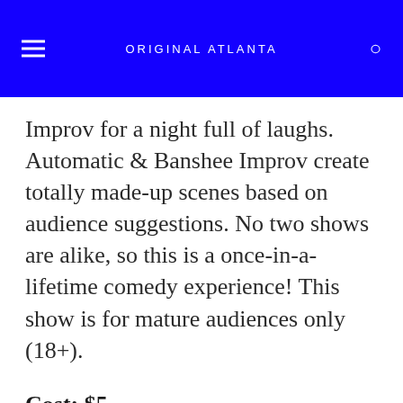ORIGINAL ATLANTA
Improv for a night full of laughs. Automatic & Banshee Improv create totally made-up scenes based on audience suggestions. No two shows are alike, so this is a once-in-a-lifetime comedy experience! This show is for mature audiences only (18+).
Cost: $5
[click here for more]